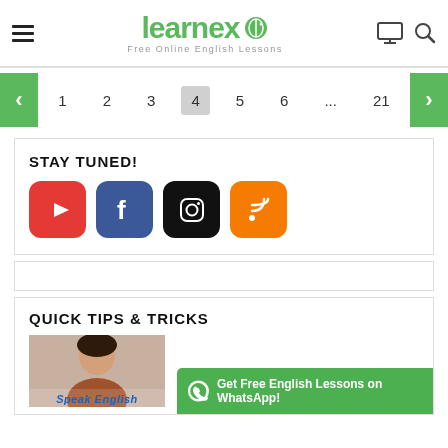[Figure (logo): Learnex logo — green text with mouse icon, subtitle 'Free Online English Lessons']
[Figure (infographic): Pagination bar with green arrow buttons on left and right, page numbers 1 2 3 4(active) 5 6 ... 21]
[Figure (infographic): Stay Tuned! social media icons: YouTube (red), Facebook (blue), Instagram (black), RSS (orange)]
[Figure (screenshot): Empty/blank content box placeholder]
QUICK TIPS & TRICKS
[Figure (photo): Photo of a person with 'Speak English' text overlay]
Get Free English Lessons on WhatsApp!